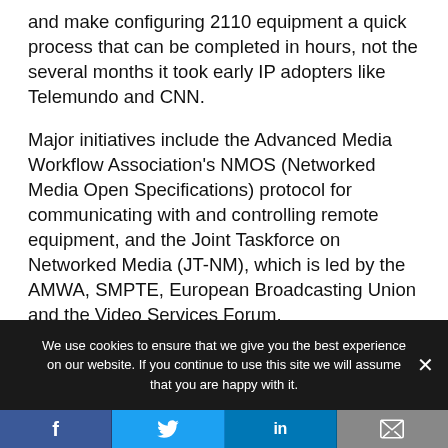and make configuring 2110 equipment a quick process that can be completed in hours, not the several months it took early IP adopters like Telemundo and CNN.
Major initiatives include the Advanced Media Workflow Association's NMOS (Networked Media Open Specifications) protocol for communicating with and controlling remote equipment, and the Joint Taskforce on Networked Media (JT-NM), which is led by the AMWA, SMPTE, European Broadcasting Union and the Video Services Forum.
We use cookies to ensure that we give you the best experience on our website. If you continue to use this site we will assume that you are happy with it.
Social sharing bar: Facebook, Twitter, LinkedIn, Email